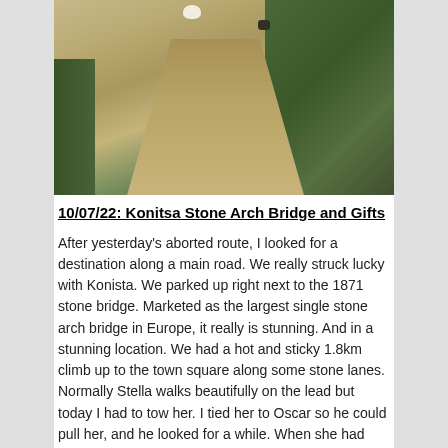[Figure (photo): A dirt trail path through scrubby terrain. A white dog is visible near the top of the path, and a dark dog to the right. Green shrubs line the right side of the path.]
10/07/22:  Konitsa Stone Arch Bridge and Gifts
After yesterday's aborted route, I looked for a destination along a main road.  We really struck lucky with Konista.  We parked up right next to the 1871 stone bridge.  Marketed as the largest single stone arch bridge in Europe, it really is stunning.  And in a stunning location.  We had a hot and sticky 1.8km climb up to the town square along some stone lanes.  Normally Stella walks beautifully on the lead but today I had to tow her.  I tied her to Oscar so he could pull her, and he looked for a while. When she had...